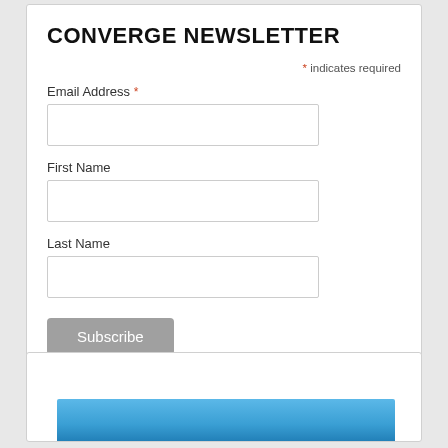CONVERGE NEWSLETTER
* indicates required
Email Address *
First Name
Last Name
Subscribe
[Figure (photo): Blue sky photo visible at the bottom of the page, partially cropped]